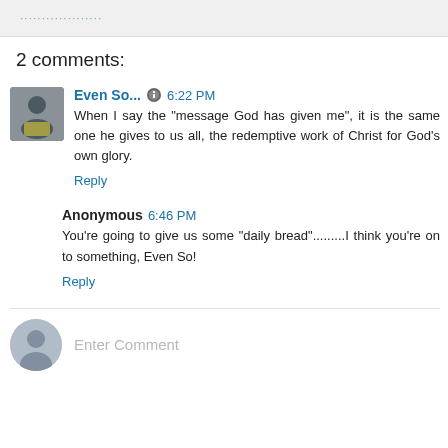......................
2 comments:
Even So...  6:22 PM
When I say the "message God has given me", it is the same one he gives to us all, the redemptive work of Christ for God's own glory.
Reply
Anonymous 6:46 PM
You're going to give us some "daily bread"..........I think you're on to something, Even So!
Reply
Enter Comment